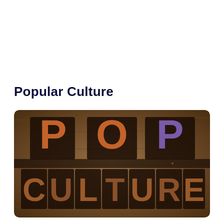Popular Culture
[Figure (photo): Vintage letterpress wooden block typography spelling 'POP CULTURE' in orange and brown tones on a worn wooden background]
In 1971, the American R&B group Honey Cone released a soul song called Don't Count Your Chickens (Before They Hatch).